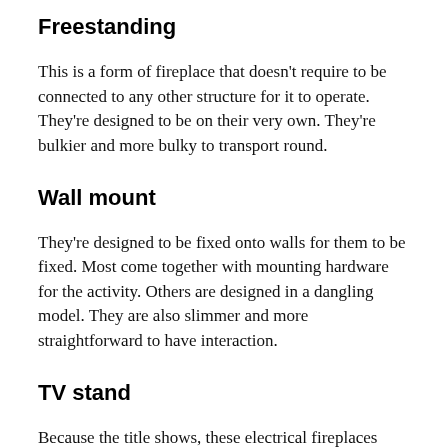Freestanding
This is a form of fireplace that doesn't require to be connected to any other structure for it to operate. They're designed to be on their very own. They're bulkier and more bulky to transport round.
Wall mount
They're designed to be fixed onto walls for them to be fixed. Most come together with mounting hardware for the activity. Others are designed in a dangling model. They are also slimmer and more straightforward to have interaction.
TV stand
Because the title shows, these electrical fireplaces